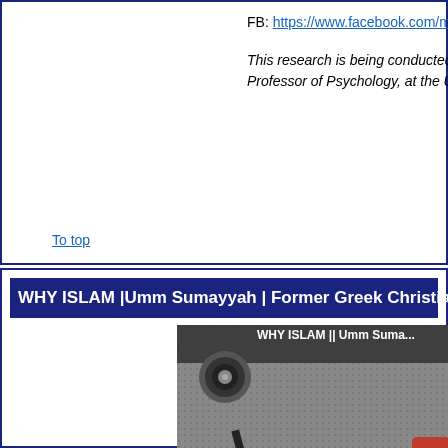FB: https://www.facebook.com/muslimma
This research is being conducted by Riya... Professor of Psychology, at the University...
To top
WHY ISLAM |Umm Sumayyah | Former Greek Christian ...
[Figure (screenshot): Video thumbnail showing a camera and text 'WHY ISLAM || Umm Suma...' with subtitle 'it's common to go thr...' on a dark dotted background with a red play button element]